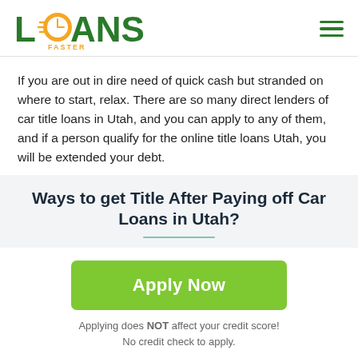[Figure (logo): Loans Faster logo with green text, orange clock icon, and 'FASTER' subtitle]
If you are out in dire need of quick cash but stranded on where to start, relax. There are so many direct lenders of car title loans in Utah, and you can apply to any of them, and if a person qualify for the online title loans Utah, you will be extended your debt.
Ways to get Title After Paying off Car Loans in Utah?
[Figure (other): Green 'Apply Now' button]
Applying does NOT affect your credit score! No credit check to apply.